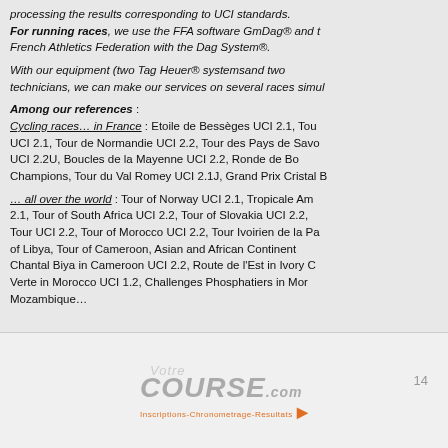processing the results corresponding to UCI standards. For running races, we use the FFA software GmDag® and the French Athletics Federation with the Dag System®.
With our equipment (two Tag Heuer® systemsand two technicians, we can make our services on several races simul...
Among our references : Cycling races... in France : Etoile de Bessèges UCI 2.1, Tour UCI 2.1, Tour de Normandie UCI 2.2, Tour des Pays de Savoie UCI 2.2U, Boucles de la Mayenne UCI 2.2, Ronde de Bou... Champions, Tour du Val Romey UCI 2.1J, Grand Prix Cristal B...
… all over the world : Tour of Norway UCI 2.1, Tropicale Am... 2.1, Tour of South Africa UCI 2.2, Tour of Slovakia UCI 2.2, Tour UCI 2.2, Tour of Morocco UCI 2.2, Tour Ivoirien de la Pa... of Libya, Tour of Cameroon, Asian and African Continent... Chantal Biya in Cameroon UCI 2.2, Route de l'Est in Ivory C... Verte in Morocco UCI 1.2, Challenges Phosphatiers in Mor... Mozambique…
[Figure (logo): VotreCourse.com logo with tagline Inscriptions-Chronometrage-Resultats and orange arrow]
14